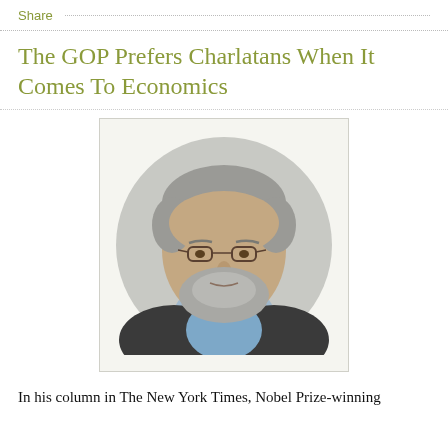Share
The GOP Prefers Charlatans When It Comes To Economics
[Figure (photo): Circular portrait photo of a bearded man with grey hair and glasses, wearing a dark jacket and light blue shirt, on a light grey background.]
In his column in The New York Times, Nobel Prize-winning